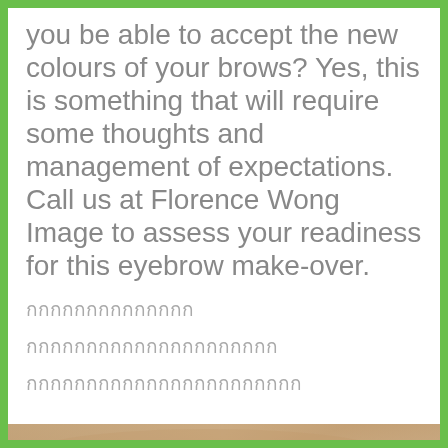you be able to accept the new colours of your brows? Yes, this is something that will require some thoughts and management of expectations. Call us at Florence Wong Image to assess your readiness for this eyebrow make-over.
กกกกกกกกกกกกกก
กกกกกกกกกกกกกกกกกกกกก
กกกกกกกกกกกกกกกกกกกกกกก
[Figure (photo): Close-up photograph of an eyebrow showing eyebrow tattooing/microblading work, with watermark text 'florencewong.com' repeated across the image]